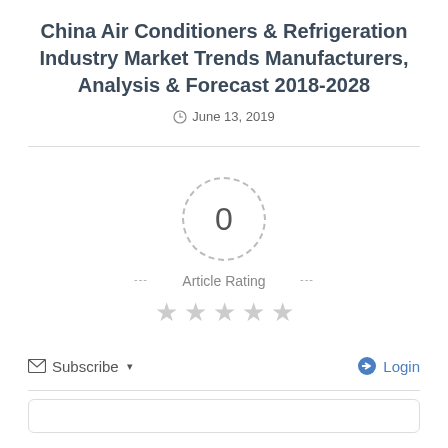China Air Conditioners & Refrigeration Industry Market Trends Manufacturers, Analysis & Forecast 2018-2028
June 13, 2019
[Figure (infographic): Article rating widget showing 0 rating in a dashed circle, dashes on either side, 'Article Rating' label, and five empty grey stars below]
Subscribe  Login